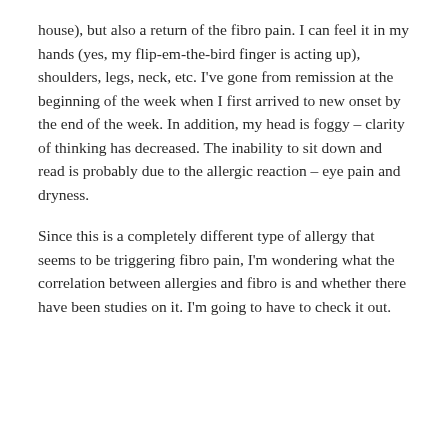house), but also a return of the fibro pain.  I can feel it in my hands (yes, my flip-em-the-bird finger is acting up), shoulders, legs, neck, etc.  I've gone from remission at the beginning of the week when I first arrived to new onset by the end of the week.  In addition, my head is foggy – clarity of thinking has decreased.  The inability to sit down and read is probably due to the allergic reaction – eye pain and dryness.
Since this is a completely different type of allergy that seems to be triggering fibro pain, I'm wondering what the correlation between allergies and fibro is and whether there have been studies on it.  I'm going to have to check it out.